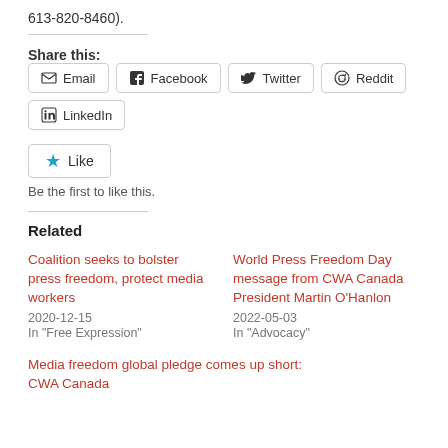613-820-8460).
Share this:
Email  Facebook  Twitter  Reddit  LinkedIn
Like  Be the first to like this.
Related
Coalition seeks to bolster press freedom, protect media workers
2020-12-15
In "Free Expression"
World Press Freedom Day message from CWA Canada President Martin O'Hanlon
2022-05-03
In "Advocacy"
Media freedom global pledge comes up short: CWA Canada